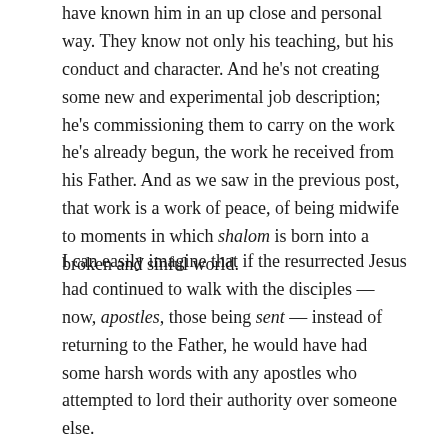have known him in an up close and personal way. They know not only his teaching, but his conduct and character. And he's not creating some new and experimental job description; he's commissioning them to carry on the work he's already begun, the work he received from his Father. And as we saw in the previous post, that work is a work of peace, of being midwife to moments in which shalom is born into a broken and sinful world.
I can easily imagine that if the resurrected Jesus had continued to walk with the disciples — now, apostles, those being sent — instead of returning to the Father, he would have had some harsh words with any apostles who attempted to lord their authority over someone else.